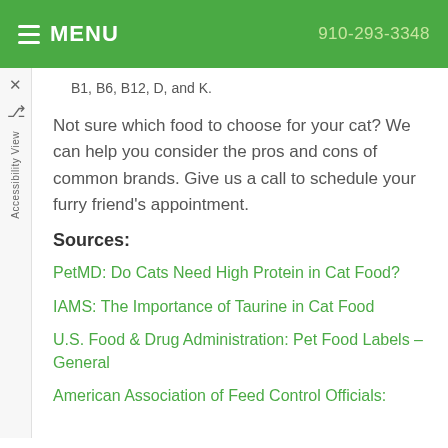MENU   910-293-3348
B1, B6, B12, D, and K.
Not sure which food to choose for your cat? We can help you consider the pros and cons of common brands. Give us a call to schedule your furry friend's appointment.
Sources:
PetMD: Do Cats Need High Protein in Cat Food?
IAMS: The Importance of Taurine in Cat Food
U.S. Food & Drug Administration: Pet Food Labels – General
American Association of Feed Control Officials: